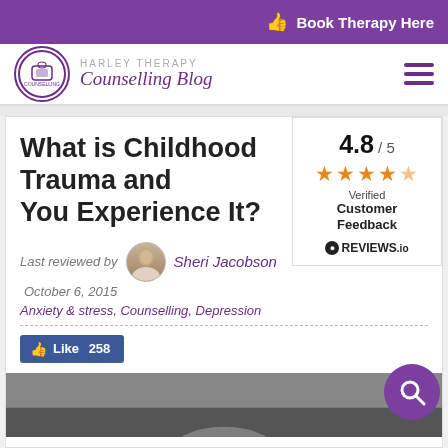Book Therapy Here
HARLEY THERAPY Counselling Blog
What is Childhood Trauma and You Experience It?
Last reviewed by Sheri Jacobson October 6, 2015
Anxiety & stress, Counselling, Depression
[Figure (infographic): Rating box showing 4.8/5 stars with Verified Customer Feedback label from REVIEWS.io]
[Figure (photo): Black and white photo at bottom of page, partially visible]
[Figure (logo): Harley Therapy circular logo]
Like 258